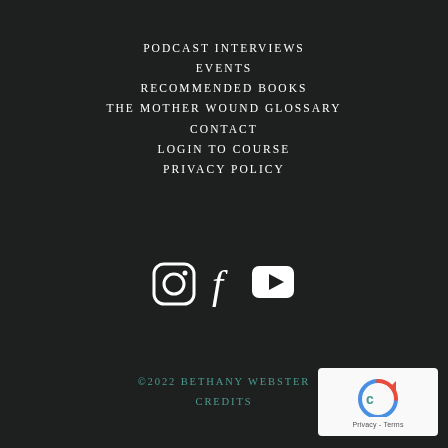PODCAST INTERVIEWS
EVENTS
RECOMMENDED BOOKS
THE MOTHER WOUND GLOSSARY
CONTACT
LOGIN TO COURSE
PRIVACY POLICY
[Figure (other): Social media icons: Instagram, Facebook, YouTube]
©2022 BETHANY WEBSTER
CREDITS
[Figure (other): reCAPTCHA badge with Privacy and Terms links]